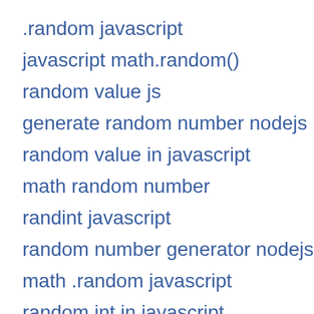.random javascript
javascript math.random()
random value js
generate random number nodejs
random value in javascript
math random number
randint javascript
random number generator nodejs
math .random javascript
random int in javascript
get random number between range js
Math.random();
js get random int
js random number function